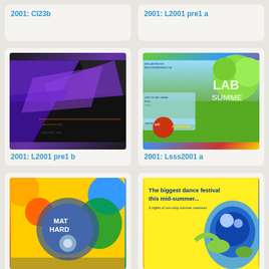2001: Cl23b
2001: L2001 pre1 a
[Figure (illustration): Abstract purple and black geometric shapes design]
2001: L2001 pre1 b
[Figure (illustration): Colorful festival flyer with cartoon characters, cult platinum logo, summer theme]
2001: Lsss2001 a
[Figure (illustration): Colorful festival flyer with yellow, orange, blue cartoon characters, Mat Hard text]
2001: Mat Hard... (partially visible)
[Figure (illustration): Yellow background festival flyer - The biggest dance festival this mid-summer]
(partially visible)